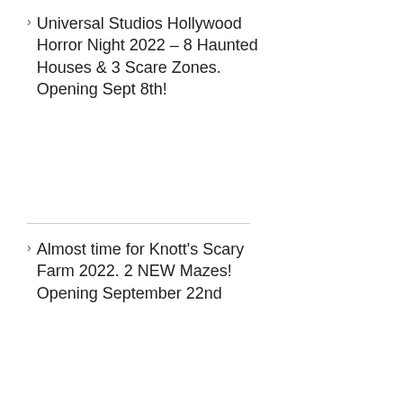Universal Studios Hollywood Horror Night 2022 – 8 Haunted Houses & 3 Scare Zones. Opening Sept 8th!
Almost time for Knott's Scary Farm 2022. 2 NEW Mazes! Opening September 22nd